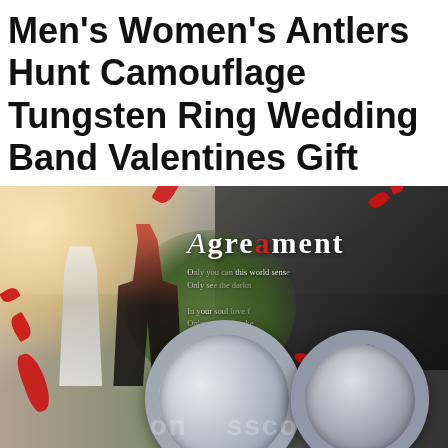Men's Women's Antlers Hunt Camouflage Tungsten Ring Wedding Band Valentines Gift
[Figure (photo): Romantic wedding-themed product photo showing a couple walking away under an umbrella with rose petals falling, overlaid with the word 'Agreement' in elegant serif text, and two silver tungsten rings in the foreground bottom right.]